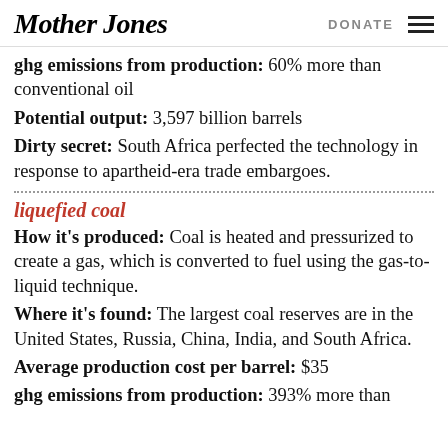Mother Jones | DONATE
ghg emissions from production: 60% more than conventional oil
Potential output: 3,597 billion barrels
Dirty secret: South Africa perfected the technology in response to apartheid-era trade embargoes.
liquefied coal
How it's produced: Coal is heated and pressurized to create a gas, which is converted to fuel using the gas-to-liquid technique.
Where it's found: The largest coal reserves are in the United States, Russia, China, India, and South Africa.
Average production cost per barrel: $35
ghg emissions from production: 393% more than